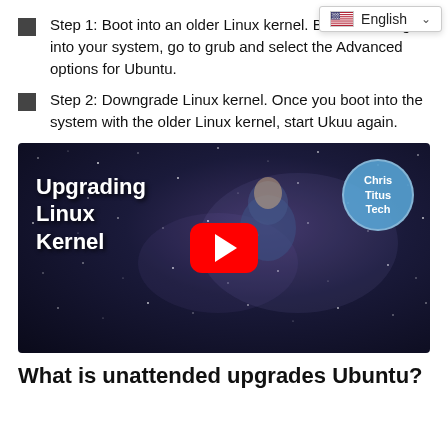Step 1: Boot into an older Linux kernel. Before booting into your system, go to grub and select the Advanced options for Ubuntu.
Step 2: Downgrade Linux kernel. Once you boot into the system with the older Linux kernel, start Ukuu again.
[Figure (screenshot): YouTube video thumbnail showing a man in a blue shirt against a space/galaxy background. Text on the left reads 'Upgrading Linux Kernel'. A red YouTube play button is in the center. A circular badge in the top right reads 'Chris Titus Tech'.]
What is unattended upgrades Ubuntu?